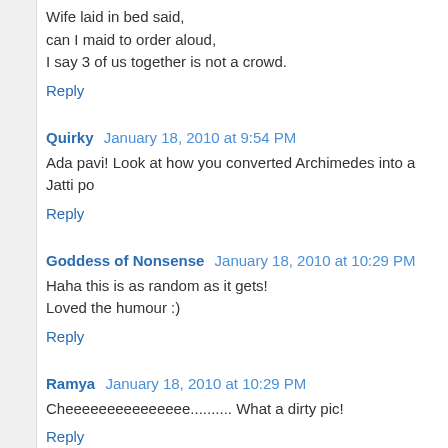Wife laid in bed said,
can I maid to order aloud,
I say 3 of us together is not a crowd.
Reply
Quirky  January 18, 2010 at 9:54 PM
Ada pavi! Look at how you converted Archimedes into a Jatti po...
Reply
Goddess of Nonsense  January 18, 2010 at 10:29 PM
Haha this is as random as it gets!
Loved the humour :)
Reply
Ramya  January 18, 2010 at 10:29 PM
Cheeeeeeeeeeeeeee.......... What a dirty pic!
Reply